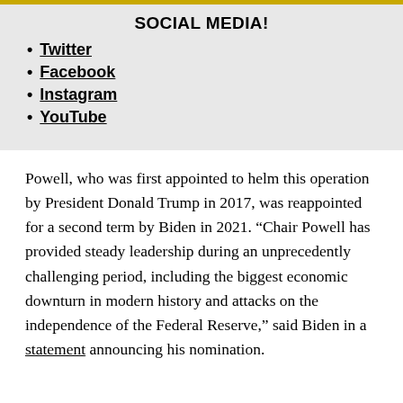SOCIAL MEDIA!
Twitter
Facebook
Instagram
YouTube
Powell, who was first appointed to helm this operation by President Donald Trump in 2017, was reappointed for a second term by Biden in 2021. “Chair Powell has provided steady leadership during an unprecedently challenging period, including the biggest economic downturn in modern history and attacks on the independence of the Federal Reserve,” said Biden in a statement announcing his nomination.